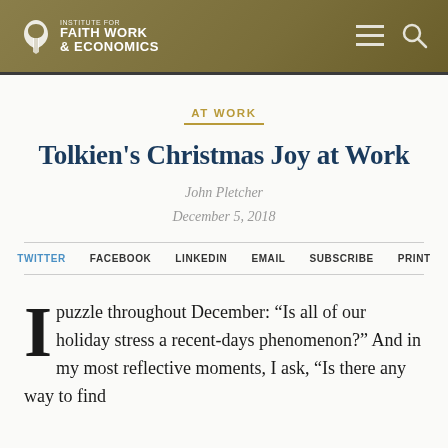Institute for Faith Work & Economics
AT WORK
Tolkien's Christmas Joy at Work
John Pletcher
December 5, 2018
TWITTER  FACEBOOK  LINKEDIN  EMAIL  SUBSCRIBE  PRINT
I puzzle throughout December: “Is all of our holiday stress a recent-days phenomenon?” And in my most reflective moments, I ask, “Is there any way to find